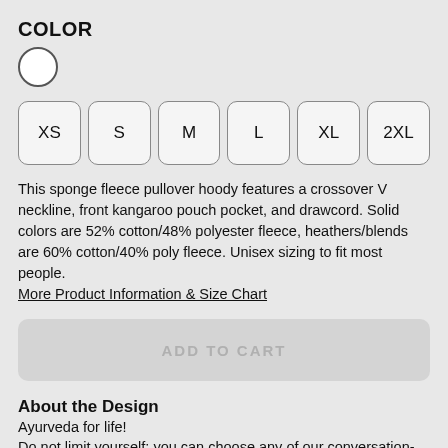COLOR
[Figure (other): White circular color swatch]
XS
S
M
L
XL
2XL
This sponge fleece pullover hoody features a crossover V neckline, front kangaroo pouch pocket, and drawcord. Solid colors are 52% cotton/48% polyester fleece, heathers/blends are 60% cotton/40% poly fleece. Unisex sizing to fit most people. More Product Information & Size Chart
ADD TO CART
About the Design
Ayurveda for life!
Do not limit yourself: you can choose any of our conversation-starting designs, and order it in your favorite style of clothing for men, women, and babies, do not forget to add a new sassy